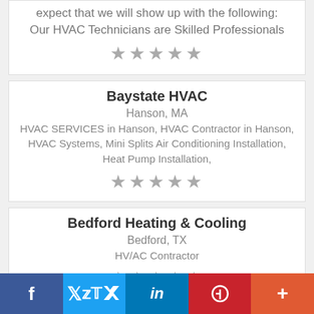expect that we will show up with the following: Our HVAC Technicians are Skilled Professionals
[Figure (other): Five grey star rating icons]
Baystate HVAC
Hanson, MA
HVAC SERVICES in Hanson, HVAC Contractor in Hanson, HVAC Systems, Mini Splits Air Conditioning Installation, Heat Pump Installation,
[Figure (other): Five grey star rating icons]
Bedford Heating & Cooling
Bedford, TX
HV/AC Contractor
[Figure (other): Five grey star rating icons]
[Figure (infographic): Social media share bar with Facebook, Twitter, LinkedIn, Pinterest, and More buttons]